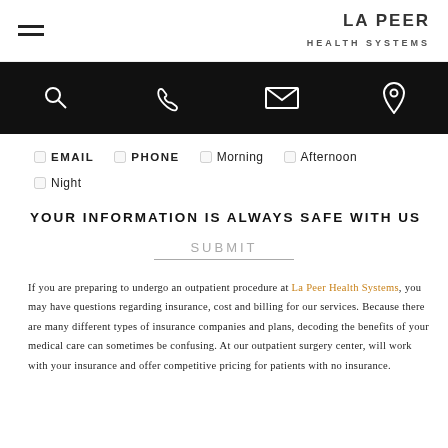LA PEER HEALTH SYSTEMS
[Figure (other): Black navigation bar with search, phone, email, and location icons]
EMAIL  PHONE  Morning  Afternoon
Night
YOUR INFORMATION IS ALWAYS SAFE WITH US
SUBMIT
If you are preparing to undergo an outpatient procedure at La Peer Health Systems, you may have questions regarding insurance, cost and billing for our services. Because there are many different types of insurance companies and plans, decoding the benefits of your medical care can sometimes be confusing. At our outpatient surgery center, will work with your insurance and offer competitive pricing for patients with no insurance.